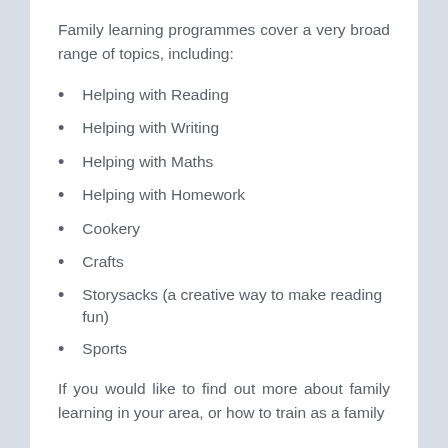Family learning programmes cover a very broad range of topics, including:
Helping with Reading
Helping with Writing
Helping with Maths
Helping with Homework
Cookery
Crafts
Storysacks (a creative way to make reading fun)
Sports
If you would like to find out more about family learning in your area, or how to train as a family